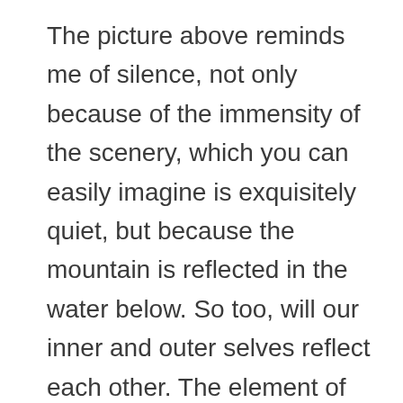The picture above reminds me of silence, not only because of the immensity of the scenery, which you can easily imagine is exquisitely quiet, but because the mountain is reflected in the water below. So too, will our inner and outer selves reflect each other. The element of Water represents our internal emotional selves while the element of Earth symbolizes our external physical selves.
Our world is full of sounds – some pleasant and others not so pleasant. I'm sure that you all can think of